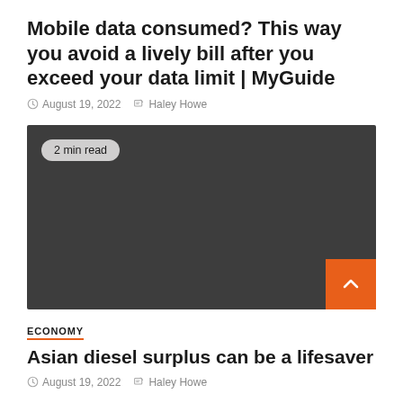Mobile data consumed? This way you avoid a lively bill after you exceed your data limit | MyGuide
August 19, 2022   Haley Howe
[Figure (photo): Dark gray placeholder image with a '2 min read' badge in the top left corner]
ECONOMY
Asian diesel surplus can be a lifesaver
August 19, 2022   Haley Howe